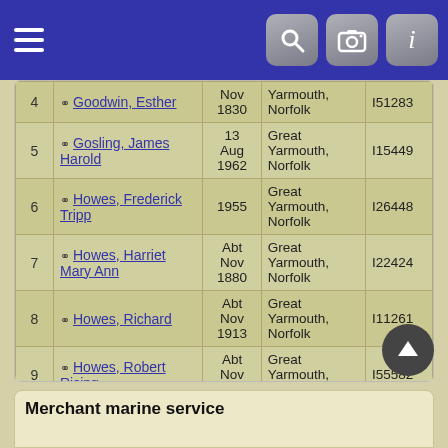Navigation bar with hamburger menu, search, camera, and info icons
| # | Name | Date | Place | ID |
| --- | --- | --- | --- | --- |
| 4 | Goodwin, Esther | Nov 1830 | Yarmouth, Norfolk | I51283 |
| 5 | Gosling, James Harold | 13 Aug 1962 | Great Yarmouth, Norfolk | I15449 |
| 6 | Howes, Frederick Tripp | 1955 | Great Yarmouth, Norfolk | I26448 |
| 7 | Howes, Harriet Mary Ann | Abt Nov 1880 | Great Yarmouth, Norfolk | I22424 |
| 8 | Howes, Richard | Abt Nov 1913 | Great Yarmouth, Norfolk | I11261 |
| 9 | Howes, Robert Rising | Abt Nov 1871 | Great Yarmouth, Norfolk | I55582 |
| 10 | Howes, Thomas | Abt Aug 1895 | Great Yarmouth, Norfolk | I2657 |
Merchant marine service